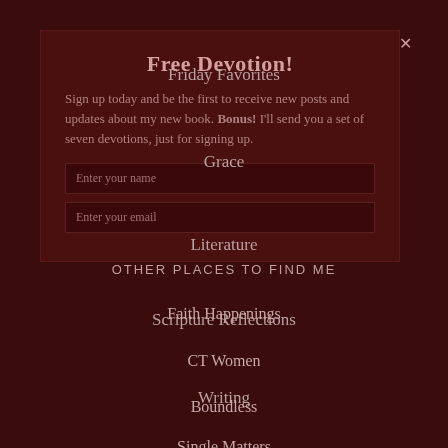Free Devotion!
Sign up today and be the first to receive new posts and updates about my new book. Bonus! I'll send you a set of seven devotions, just for signing up.
Enter your name
Enter your email
Friday Favorites
Grace
Literature
Scripture Reflections
Writing
OTHER PLACES TO FIND ME
Faith Happenings
CT Women
Boundless
Single Matters